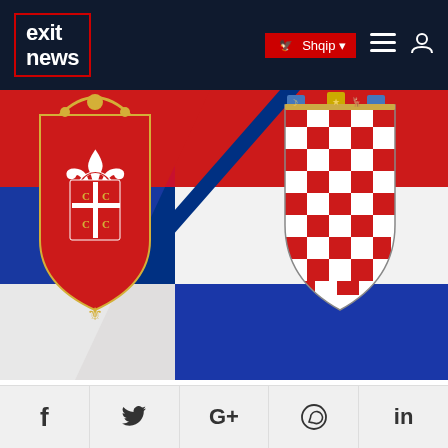exit news — Shqip navigation header
[Figure (illustration): Serbian and Croatian flags side by side with their national coats of arms]
Croatia Warns Serbia to Drop War Crimes Cases, Hints at Belgrade's EU talks
Tuesday 08, 2022
Social share buttons: Facebook, Twitter, Google+, WhatsApp, LinkedIn